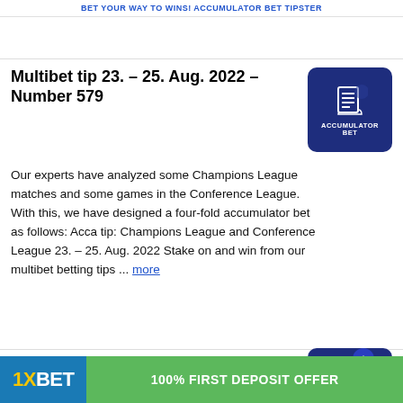BET YOUR WAY TO WINS! ACCUMULATOR BET TIPSTER
Multibet tip 23. – 25. Aug. 2022 – Number 579
[Figure (logo): Accumulator Bet logo with document icon on dark navy background]
Our experts have analyzed some Champions League matches and some games in the Conference League. With this, we have designed a four-fold accumulator bet as follows: Acca tip: Champions League and Conference League 23. – 25. Aug. 2022 Stake on and win from our multibet betting tips ... more
Multibet tip 23. – 25. Aug. 2022 – Number 578
[Figure (logo): Accumulator Bet logo partially visible with chevron/up arrow badge]
Our acco... results f...
[Figure (infographic): 1XBET advertisement bar: 1XBET logo on blue background and 100% FIRST DEPOSIT OFFER button in green, ULATOR ET text visible]